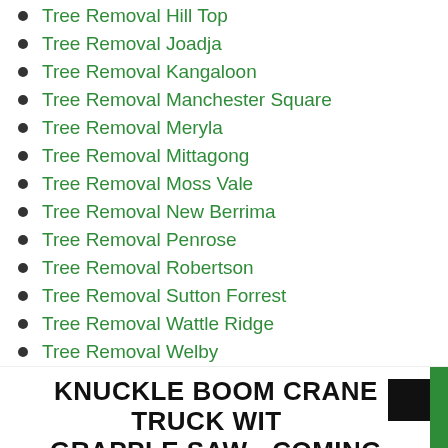Tree Removal Hill Top
Tree Removal Joadja
Tree Removal Kangaloon
Tree Removal Manchester Square
Tree Removal Meryla
Tree Removal Mittagong
Tree Removal Moss Vale
Tree Removal New Berrima
Tree Removal Penrose
Tree Removal Robertson
Tree Removal Sutton Forrest
Tree Removal Wattle Ridge
Tree Removal Welby
KNUCKLE BOOM CRANE TRUCK WITH GRAPPLE SAW - COMING SOON
Available For Hire to: Other tree contractors, Building and construction contractors and tier 1 sites. Government and Local Authorities, Roads & Maritime